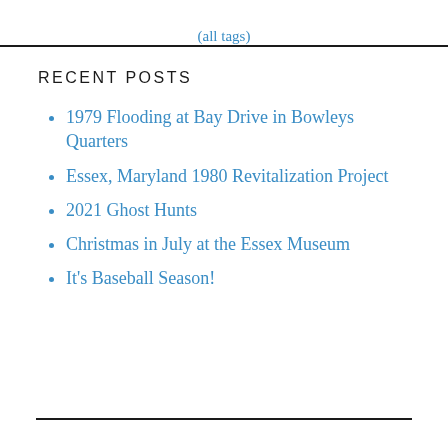(all tags)
RECENT POSTS
1979 Flooding at Bay Drive in Bowleys Quarters
Essex, Maryland 1980 Revitalization Project
2021 Ghost Hunts
Christmas in July at the Essex Museum
It's Baseball Season!